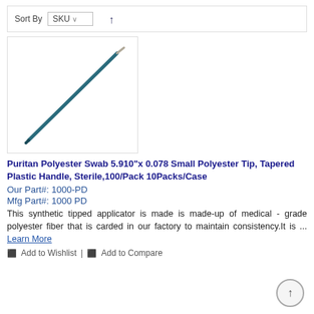Sort By  SKU
[Figure (photo): A single long thin Puritan polyester swab with a tapered plastic handle, shown diagonally against a white background.]
Puritan Polyester Swab 5.910"x 0.078 Small Polyester Tip, Tapered Plastic Handle, Sterile,100/Pack 10Packs/Case
Our Part#: 1000-PD
Mfg Part#: 1000 PD
This synthetic tipped applicator is made is made-up of medical - grade polyester fiber that is carded in our factory to maintain consistency.It is ... Learn More
Add to Wishlist | Add to Compare